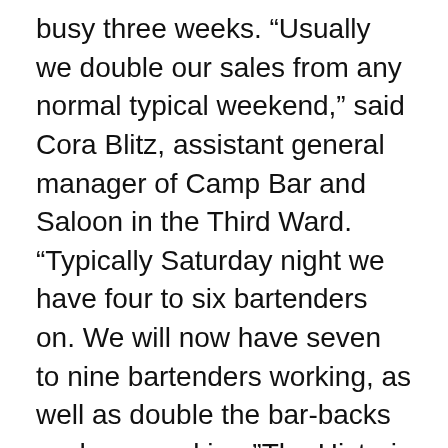busy three weeks. “Usually we double our sales from any normal typical weekend,” said Cora Blitz, assistant general manager of Camp Bar and Saloon in the Third Ward. “Typically Saturday night we have four to six bartenders on. We will now have seven to nine bartenders working, as well as double the bar-backs we have working.”The Historic Third Ward Association said it believes the weekday performances won’t have a negative impact on potential extra business. “Thursday night is busy in the Third Ward, no matter the season,” said Jordan Dechambre with the Historic Third Ward Association. “Summerfest is one of those Milwaukee institutions people look forward to every single year. When you think Milwaukee, you think Summerfest.”Summerfest kicks off